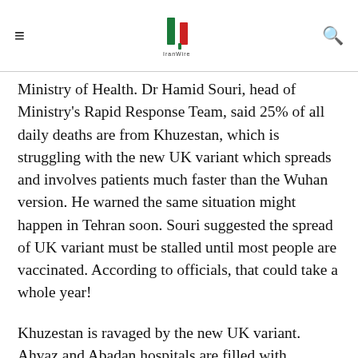IranWire logo
Ministry of Health. Dr Hamid Souri, head of Ministry's Rapid Response Team, said 25% of all daily deaths are from Khuzestan, which is struggling with the new UK variant which spreads and involves patients much faster than the Wuhan version. He warned the same situation might happen in Tehran soon. Souri suggested the spread of UK variant must be stalled until most people are vaccinated. According to officials, that could take a whole year!
Khuzestan is ravaged by the new UK variant. Ahvaz and Abadan hospitals are filled with COVID-19 patients, forcing administrators to discharge non-COVID-19 patients. Two recuperating centers have started servicing less serious patients. Saeed Namaki said even